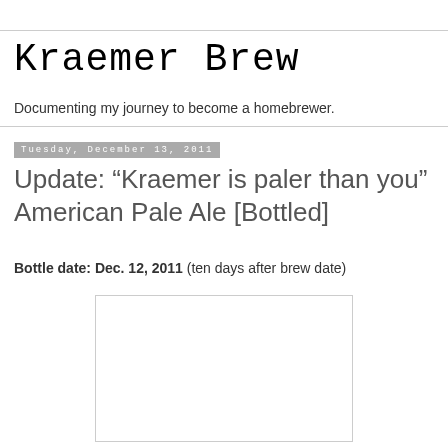Kraemer Brew
Documenting my journey to become a homebrewer.
Tuesday, December 13, 2011
Update: “Kraemer is paler than you” American Pale Ale [Bottled]
Bottle date: Dec. 12, 2011 (ten days after brew date)
[Figure (photo): Blank/white photo placeholder box]